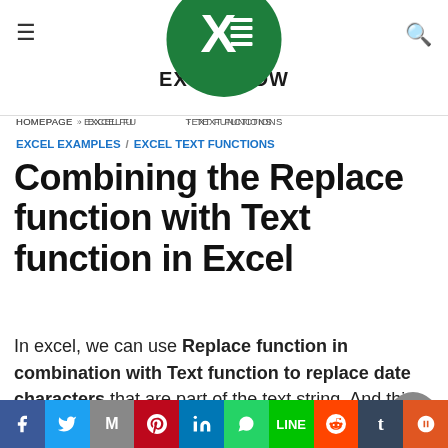EXCEL HOW
HOMEPAGE > EXCEL FUNCTIONS > TEXT FUNCTIONS
EXCEL EXAMPLES / EXCEL TEXT FUNCTIONS
Combining the Replace function with Text function in Excel
In excel, we can use Replace function in combination with Text function to replace date characters that are part of the text string. And this post will guide you how to use TEXT function as
[Figure (logo): Excel How website logo - green circle with X and spreadsheet icon]
Social sharing bar: Facebook, Twitter, Gmail, Pinterest, LinkedIn, WhatsApp, Line, Reddit, Tumblr, StumbleUpon